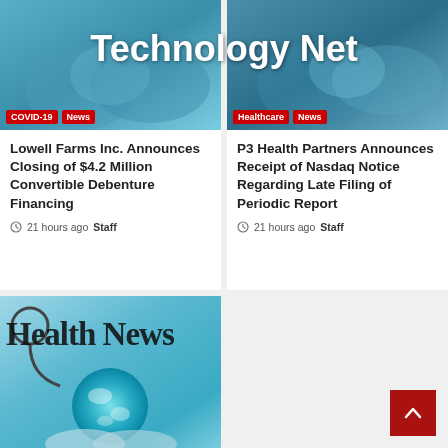Technology Net
[Figure (photo): Medical/health image with gloved hands, teal/blue tones. Tags: COVID-19, News]
Lowell Farms Inc. Announces Closing of $4.2 Million Convertible Debenture Financing
21 hours ago  Staff
[Figure (photo): Medical/healthcare image with gloved hands, teal/blue tones. Tags: Healthcare, News]
P3 Health Partners Announces Receipt of Nasdaq Notice Regarding Late Filing of Periodic Report
21 hours ago  Staff
[Figure (photo): Health News image showing stethoscope and glowing globe held in gloved hands. Text: Health News]